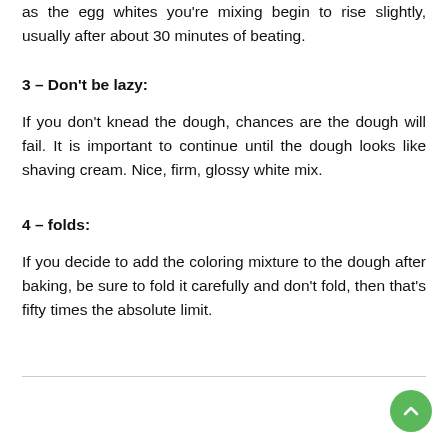as the egg whites you're mixing begin to rise slightly, usually after about 30 minutes of beating.
3 – Don't be lazy:
If you don't knead the dough, chances are the dough will fail. It is important to continue until the dough looks like shaving cream. Nice, firm, glossy white mix.
4 – folds:
If you decide to add the coloring mixture to the dough after baking, be sure to fold it carefully and don't fold, then that's fifty times the absolute limit.